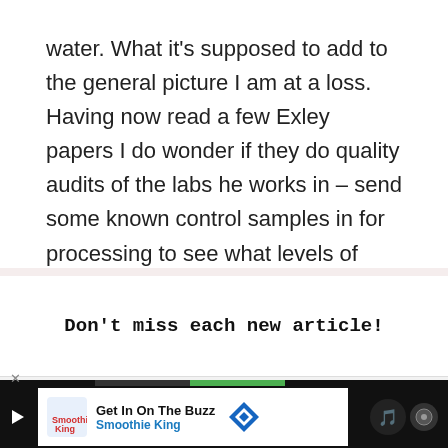water. What it's supposed to add to the general picture I am at a loss. Having now read a few Exley papers I do wonder if they do quality audits of the labs he works in – send some known control samples in for processing to see what levels of aluminium is found
Don't miss each new article!
Email Address
Get In On The Buzz
Smoothie King